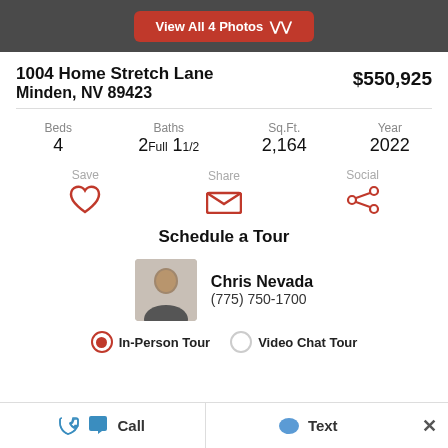View All 4 Photos
1004 Home Stretch Lane
Minden, NV 89423
$550,925
Beds 4  Baths 2Full 11/2  Sq.Ft. 2,164  Year 2022
Save  Share  Social
Schedule a Tour
Chris Nevada
(775) 750-1700
In-Person Tour  Video Chat Tour
Call  Text  ×